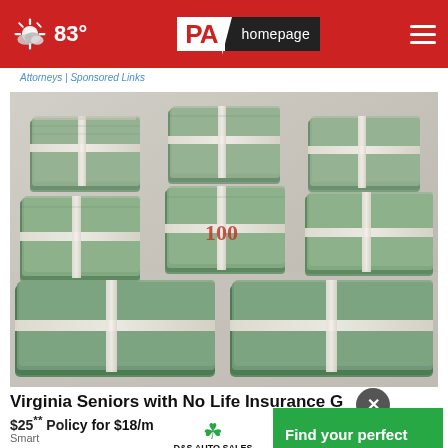PA homepage | 83°
Attorneys | Sponsored Links
[Figure (photo): Large stacks of bundled US $100 bills arranged in a grid pattern on a light surface]
Virginia Seniors with No Life Insurance G
$25** Policy for $18/month
Smart
D&S AUTO SALES SCRANTON — Find your perfect vehicle. Seach now.